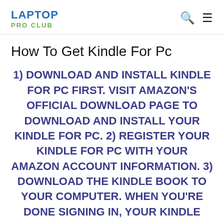LAPTOP PRO CLUB
How To Get Kindle For Pc
1) DOWNLOAD AND INSTALL KINDLE FOR PC FIRST. VISIT AMAZON'S OFFICIAL DOWNLOAD PAGE TO DOWNLOAD AND INSTALL YOUR KINDLE FOR PC. 2) REGISTER YOUR KINDLE FOR PC WITH YOUR AMAZON ACCOUNT INFORMATION. 3) DOWNLOAD THE KINDLE BOOK TO YOUR COMPUTER. WHEN YOU'RE DONE SIGNING IN, YOUR KINDLE